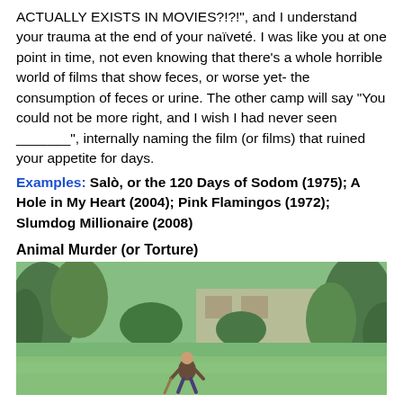ACTUALLY EXISTS IN MOVIES?!?!", and I understand your trauma at the end of your naïveté. I was like you at one point in time, not even knowing that there's a whole horrible world of films that show feces, or worse yet- the consumption of feces or urine. The other camp will say "You could not be more right, and I wish I had never seen _______", internally naming the film (or films) that ruined your appetite for days.
Examples: Salò, or the 120 Days of Sodom (1975); A Hole in My Heart (2004); Pink Flamingos (1972); Slumdog Millionaire (2008)
Animal Murder (or Torture)
[Figure (photo): Outdoor scene with lush green vegetation, trees, and a person crouching on a green lawn. A building is visible in the background.]